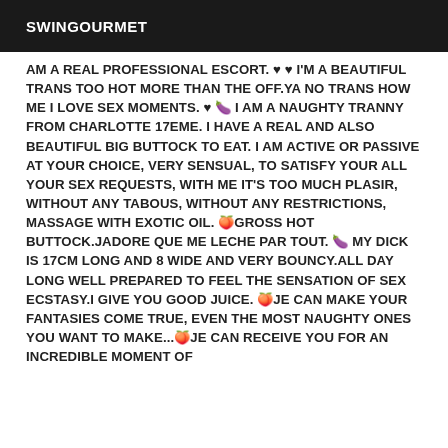SWINGOURMET
AM A REAL PROFESSIONAL ESCORT. ♥ ♥ I'M A BEAUTIFUL TRANS TOO HOT MORE THAN THE OFF.YA NO TRANS HOW ME I LOVE SEX MOMENTS. ♥ 🍆 I AM A NAUGHTY TRANNY FROM CHARLOTTE 17EME. I HAVE A REAL AND ALSO BEAUTIFUL BIG BUTTOCK TO EAT. I AM ACTIVE OR PASSIVE AT YOUR CHOICE, VERY SENSUAL, TO SATISFY YOUR ALL YOUR SEX REQUESTS, WITH ME IT'S TOO MUCH PLASIR, WITHOUT ANY TABOUS, WITHOUT ANY RESTRICTIONS, MASSAGE WITH EXOTIC OIL. 🍑GROSS HOT BUTTOCK.JADORE QUE ME LECHE PAR TOUT. 🍆 MY DICK IS 17CM LONG AND 8 WIDE AND VERY BOUNCY.ALL DAY LONG WELL PREPARED TO FEEL THE SENSATION OF SEX ECSTASY.I GIVE YOU GOOD JUICE. 🍑JE CAN MAKE YOUR FANTASIES COME TRUE, EVEN THE MOST NAUGHTY ONES YOU WANT TO MAKE...🍑JE CAN RECEIVE YOU FOR AN INCREDIBLE MOMENT OF